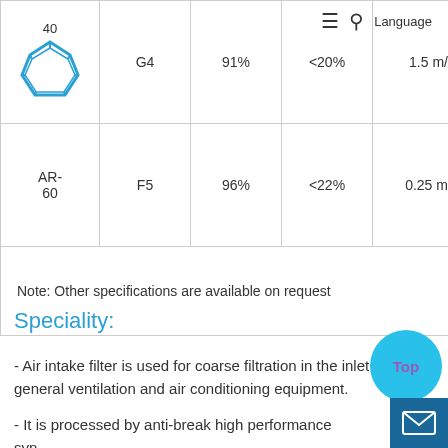| Model | Filter Grade | Efficiency | Resistance | Air Velocity |
| --- | --- | --- | --- | --- |
| AR-40 | G4 | 91% | <20% | 1.5 m/s |
| AR-60 | F5 | 96% | <22% | 0.25 m/s |
| Note: Other specifications are available on request |  |  |  |  |
Speciality:
- Air intake filter is used for coarse filtration in the inlet of general ventilation and air conditioning equipment.
- It is processed by anti-break high performance synthetic fiber with gradual density.